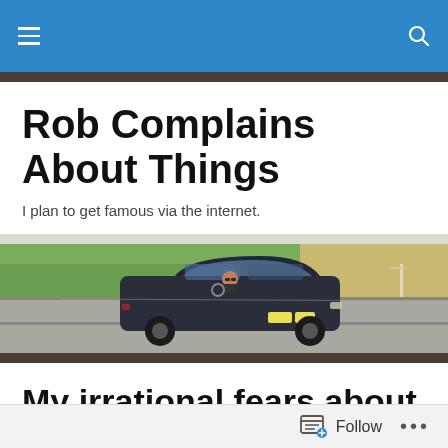Rob Complains About Things — site navigation bar
Rob Complains About Things
I plan to get famous via the internet.
[Figure (photo): A dark-colored hatchback car driving on a road, green fields in the background, person visible through windshield]
My irrational fears about imminent parenthood
I haven't written in a while because I am consumed with
Follow   ...